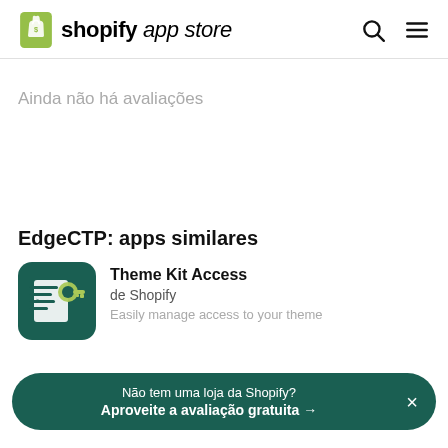shopify app store
Ainda não há avaliações
EdgeCTP: apps similares
[Figure (screenshot): Theme Kit Access app icon: dark teal background with a document and key icon in white]
Theme Kit Access
de Shopify
Easily manage access to your theme...
Não tem uma loja da Shopify?
Aproveite a avaliação gratuita →